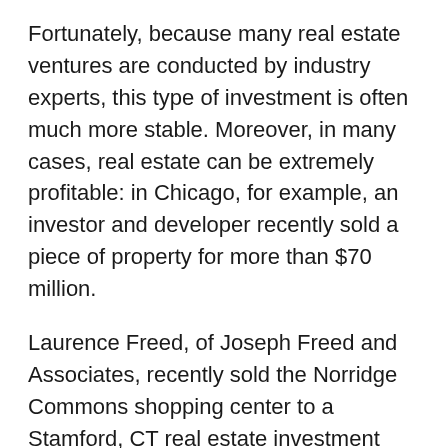Fortunately, because many real estate ventures are conducted by industry experts, this type of investment is often much more stable. Moreover, in many cases, real estate can be extremely profitable: in Chicago, for example, an investor and developer recently sold a piece of property for more than $70 million.
Laurence Freed, of Joseph Freed and Associates, recently sold the Norridge Commons shopping center to a Stamford, CT real estate investment firm called AmCap. The 328,000-square-foot property sold for more than $70 million, although both parties refused to name the exact amount. Amcap was reportedly drawn by a recovering retail market, strong returns in shopping centers, and the property's prominent location in Chicago's Norridge suburb.